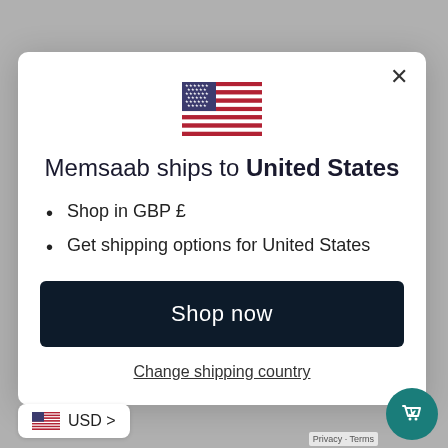[Figure (illustration): US flag SVG illustration centered at top of modal dialog]
Memsaab ships to United States
Shop in GBP £
Get shipping options for United States
Shop now
Change shipping country
USD >
Privacy · Terms